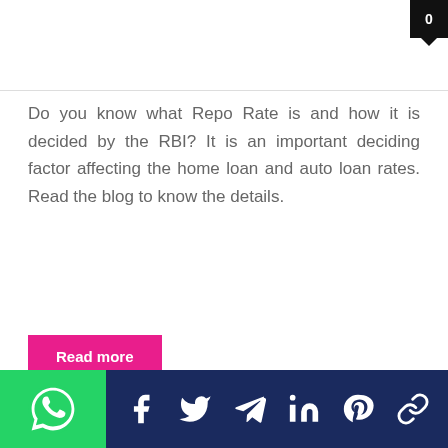0
Do you know what Repo Rate is and how it is decided by the RBI? It is an important deciding factor affecting the home loan and auto loan rates. Read the blog to know the details.
Read more
[Figure (photo): Building exterior photo with HONER watermark]
Hyderabad real estate The Amazon effect
[Figure (logo): WhatsApp green logo button]
[Figure (infographic): Social share bar with Facebook, Twitter, Telegram, LinkedIn, Pinterest, and link icons on dark navy background]